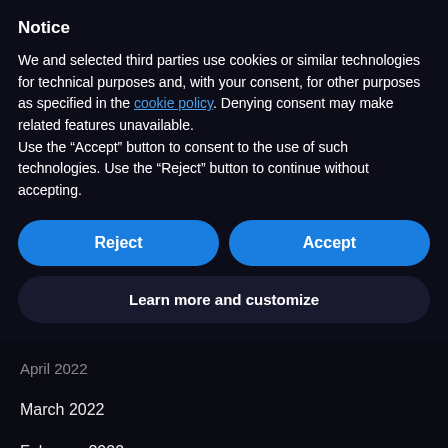Notice
We and selected third parties use cookies or similar technologies for technical purposes and, with your consent, for other purposes as specified in the cookie policy. Denying consent may make related features unavailable.
Use the “Accept” button to consent to the use of such technologies. Use the “Reject” button to continue without accepting.
Reject
Accept
Learn more and customize
April 2022
March 2022
February 2022
January 2022
December 2021